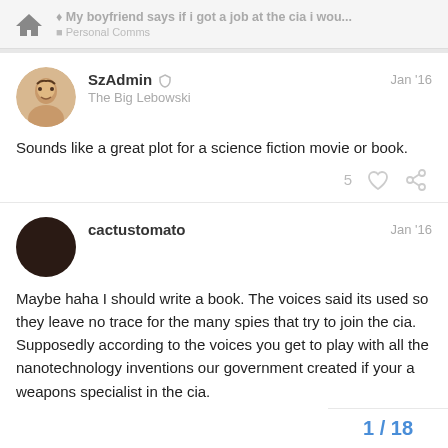My boyfriend says if i got a job at the cia i wou... / Personal Comms
SzAdmin  The Big Lebowski   Jan '16
Sounds like a great plot for a science fiction movie or book.
cactustomato   Jan '16
Maybe haha I should write a book. The voices said its used so they leave no trace for the many spies that try to join the cia. Supposedly according to the voices you get to play with all the nanotechnology inventions our government created if your a weapons specialist in the cia.
1 / 18